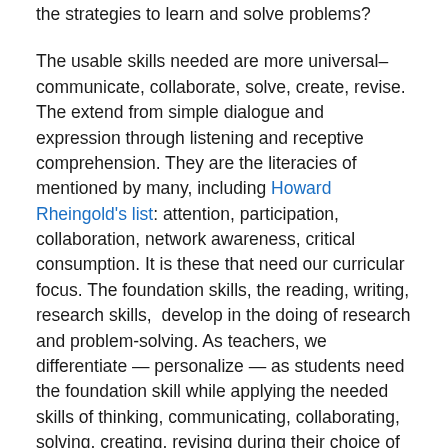the strategies to learn and solve problems?
The usable skills needed are more universal– communicate, collaborate, solve, create, revise. The extend from simple dialogue and expression through listening and receptive comprehension. They are the literacies of mentioned by many, including Howard Rheingold's list: attention, participation, collaboration, network awareness, critical consumption. It is these that need our curricular focus. The foundation skills, the reading, writing, research skills,  develop in the doing of research and problem-solving. As teachers, we differentiate — personalize — as students need the foundation skill while applying the needed skills of thinking, communicating, collaborating, solving, creating, revising during their choice of projects. The test is the process and product of their project solution, not the